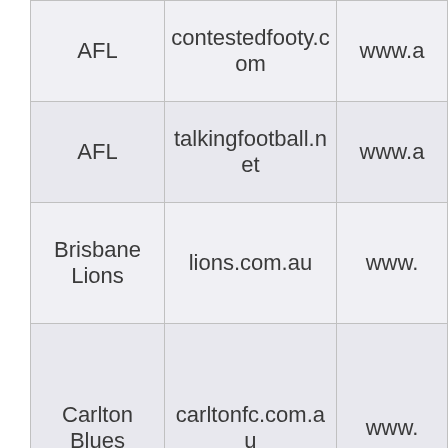| Team | Website | URL |
| --- | --- | --- |
| AFL | contestedfooty.com | www.a… |
| AFL | talkingfootball.net | www.a… |
| Brisbane Lions | lions.com.au | www… |
| Carlton Blues | carltonfc.com.au | www… |